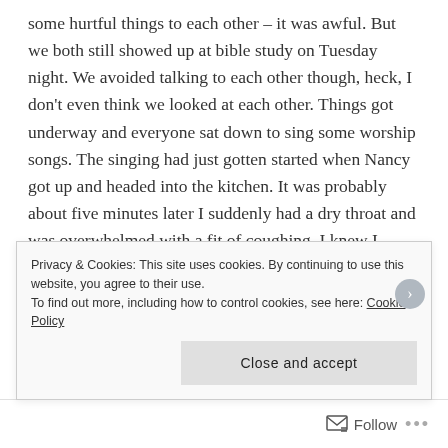some hurtful things to each other – it was awful. But we both still showed up at bible study on Tuesday night. We avoided talking to each other though, heck, I don't even think we looked at each other. Things got underway and everyone sat down to sing some worship songs. The singing had just gotten started when Nancy got up and headed into the kitchen. It was probably about five minutes later I suddenly had a dry throat and was overwhelmed with a fit of coughing. I knew I wouldn't be able to stop without some water, so I got up and went into the kitchen. Nancy was standing in front of the sink looking out
Privacy & Cookies: This site uses cookies. By continuing to use this website, you agree to their use. To find out more, including how to control cookies, see here: Cookie Policy
Close and accept
Follow